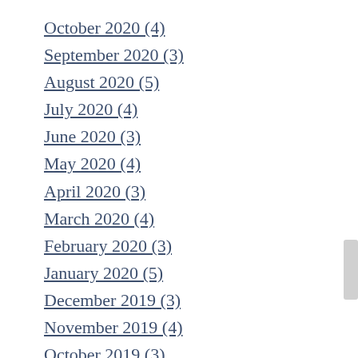October 2020 (4)
September 2020 (3)
August 2020 (5)
July 2020 (4)
June 2020 (3)
May 2020 (4)
April 2020 (3)
March 2020 (4)
February 2020 (3)
January 2020 (5)
December 2019 (3)
November 2019 (4)
October 2019 (3)
September 2019 (4)